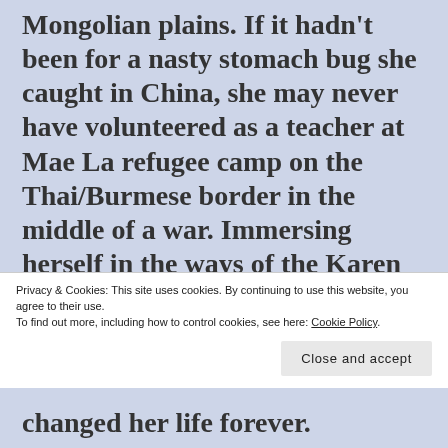Mongolian plains. If it hadn't been for a nasty stomach bug she caught in China, she may never have volunteered as a teacher at Mae La refugee camp on the Thai/Burmese border in the middle of a war. Immersing herself in the ways of the Karen people, Kimberly discusses some of the harrowing events she experienced and witnessed
Privacy & Cookies: This site uses cookies. By continuing to use this website, you agree to their use.
To find out more, including how to control cookies, see here: Cookie Policy
changed her life forever.